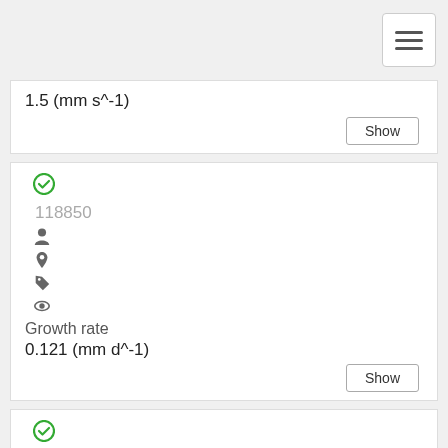1.5 (mm s^-1)
Show
118850
Growth rate
0.121 (mm d^-1)
Show
159808